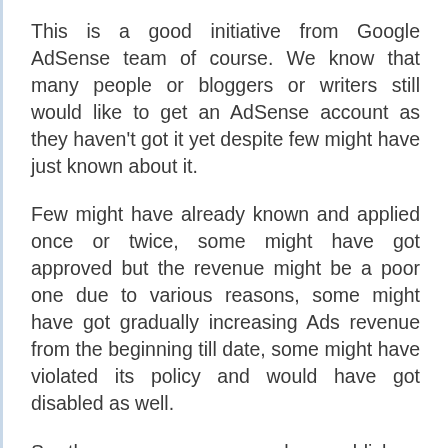This is a good initiative from Google AdSense team of course. We know that many people or bloggers or writers still would like to get an AdSense account as they haven't got it yet despite few might have just known about it.
Few might have already known and applied once or twice, some might have got approved but the revenue might be a poor one due to various reasons, some might have got gradually increasing Ads revenue from the beginning till date, some might have violated its policy and would have got disabled as well.
So, there are many cases where publishers stand against AdSense. Whatsoever, the concern from Google to its Publishers is all about poor revenue for those who once earned well and unable to earn likewise at